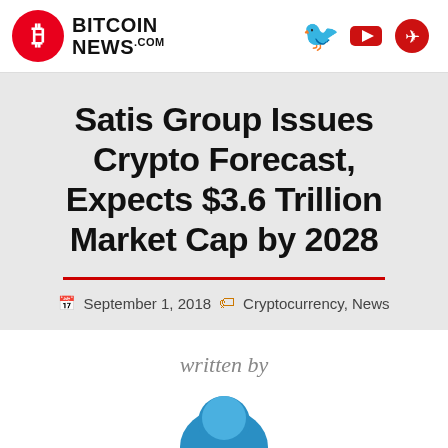Bitcoin News.com
Satis Group Issues Crypto Forecast, Expects $3.6 Trillion Market Cap by 2028
September 1, 2018 · Cryptocurrency, News
written by